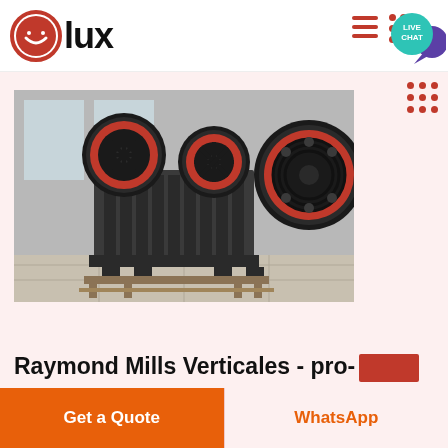[Figure (logo): Olux brand logo with red circular smiley icon and bold text 'lux']
[Figure (photo): Industrial jaw crusher machines with large red-rimmed flywheels in a factory setting]
Raymond Mills Verticales - pro-
Get a Quote
WhatsApp